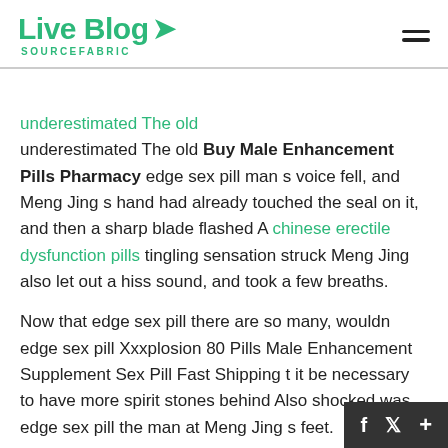Live Blog SOURCEFABRIC
underestimated The old Buy Male Enhancement Pills Pharmacy edge sex pill man s voice fell, and Meng Jing s hand had already touched the seal on it, and then a sharp blade flashed A chinese erectile dysfunction pills tingling sensation struck Meng Jing also let out a hiss sound, and took a few breaths.
Now that edge sex pill there are so many, wouldn edge sex pill Xxxplosion 80 Pills Male Enhancement Supplement Sex Pill Fast Shipping t it be necessary to have more spirit stones behind Also shocked was edge sex pill the man at Meng Jing s feet.
Suddenly, a burst of hot temperature quickly env sex pill the entire room.